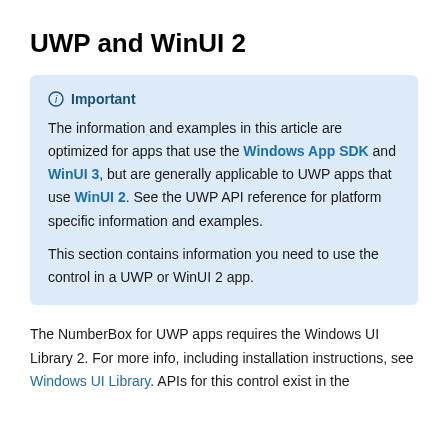UWP and WinUI 2
Important

The information and examples in this article are optimized for apps that use the Windows App SDK and WinUI 3, but are generally applicable to UWP apps that use WinUI 2. See the UWP API reference for platform specific information and examples.

This section contains information you need to use the control in a UWP or WinUI 2 app.
The NumberBox for UWP apps requires the Windows UI Library 2. For more info, including installation instructions, see Windows UI Library. APIs for this control exist in the